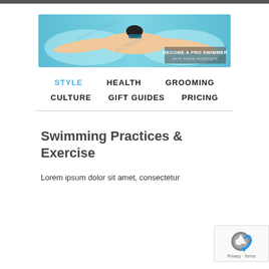[Figure (photo): Banner image of a male swimmer doing butterfly stroke in a pool with text overlay 'BECOME A PRO SWIMMER WITH THESE WORKOUTS']
STYLE  HEALTH  GROOMING  CULTURE  GIFT GUIDES  PRICING
Swimming Practices & Exercise
Lorem ipsum dolor sit amet, consectetur